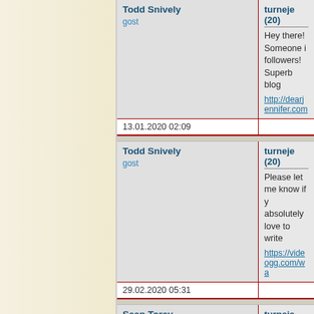| Author | Category / Content / Link | Date |
| --- | --- | --- |
| Todd Snively
gost | turneje (20)
Hey there! Someone i... followers! Superb blog...
http://dearjennifer.com... | 13.01.2020 02:09 |
| Todd Snively
gost | turneje (20)
Please let me know if y... absolutely love to write...
https://videogg.com/wa... | 29.02.2020 05:31 |
| Sean Torey
gost | turneje (20)
Thank you, I've just be... you positive about the...
https://cli.re/wnyNYd | 12.05.2020 07:07 |
| Kevin David
gost | turneje (20)
There are some fascin... article , thanks and we...
https://www.google.cor... sa=t&rct=j&q=&esrc=s... 4tYjl&usg=AOvVaw2T... | 11.08.2020 14:01 |